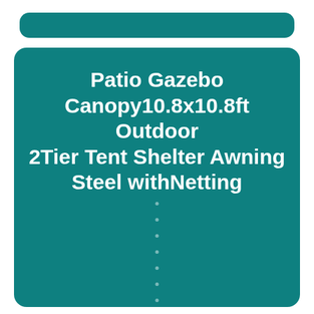Patio Gazebo Canopy10.8x10.8ft Outdoor 2Tier Tent Shelter Awning Steel withNetting